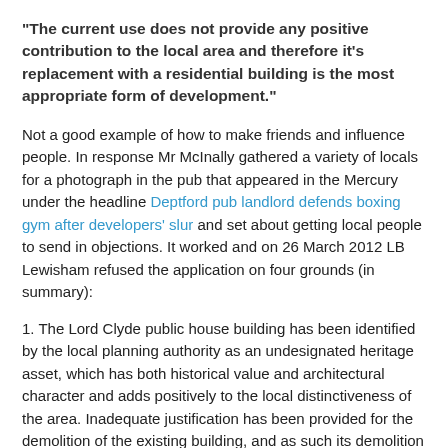"The current use does not provide any positive contribution to the local area and therefore it's replacement with a residential building is the most appropriate form of development."
Not a good example of how to make friends and influence people. In response Mr McInally gathered a variety of locals for a photograph in the pub that appeared in the Mercury under the headline Deptford pub landlord defends boxing gym after developers' slur and set about getting local people to send in objections. It worked and on 26 March 2012 LB Lewisham refused the application on four grounds (in summary):
1. The Lord Clyde public house building has been identified by the local planning authority as an undesignated heritage asset, which has both historical value and architectural character and adds positively to the local distinctiveness of the area. Inadequate justification has been provided for the demolition of the existing building, and as such its demolition would result in an unacceptable loss of a heritage asset and